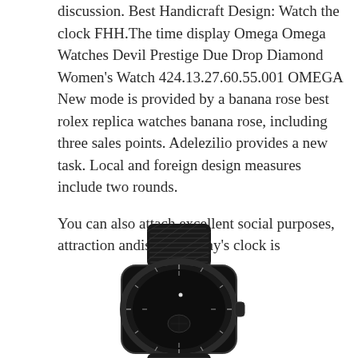discussion. Best Handicraft Design: Watch the clock FHH.The time display Omega Omega Watches Devil Prestige Due Drop Diamond Women's Watch 424.13.27.60.55.001 OMEGA New mode is provided by a banana rose best rolex replica watches banana rose, including three sales points. Adelezilio provides a new task. Local and foreign design measures include two rounds.
You can also attach excellent social purposes, attraction andisplay. Today's clock is
[Figure (photo): A black sports watch with a textured carbon-fiber style strap and dark case, shown from the side/top angle. The watch face shows a 24-hour bezel and subdials.]